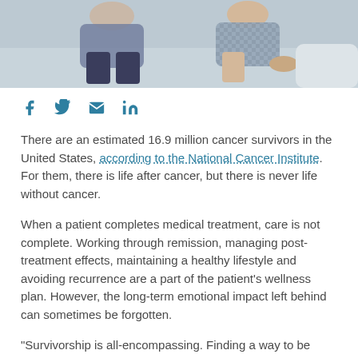[Figure (photo): Two people sitting on a couch, one in a checkered shirt, casual indoor setting]
[Figure (infographic): Social media share icons: Facebook (f), Twitter (bird), Email (envelope), LinkedIn (in)]
There are an estimated 16.9 million cancer survivors in the United States, according to the National Cancer Institute. For them, there is life after cancer, but there is never life without cancer.
When a patient completes medical treatment, care is not complete. Working through remission, managing post-treatment effects, maintaining a healthy lifestyle and avoiding recurrence are a part of the patient's wellness plan. However, the long-term emotional impact left behind can sometimes be forgotten.
“Survivorship is all-encompassing. Finding a way to be normal again can be optimized by focusing on treating the